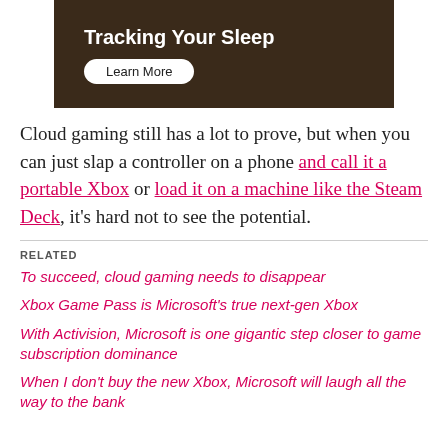[Figure (photo): Advertisement image showing a sleep tracking product with text 'Tracking Your Sleep' and a 'Learn More' button on a dark brown background.]
Cloud gaming still has a lot to prove, but when you can just slap a controller on a phone and call it a portable Xbox or load it on a machine like the Steam Deck, it's hard not to see the potential.
RELATED
To succeed, cloud gaming needs to disappear
Xbox Game Pass is Microsoft's true next-gen Xbox
With Activision, Microsoft is one gigantic step closer to game subscription dominance
When I don't buy the new Xbox, Microsoft will laugh all the way to the bank